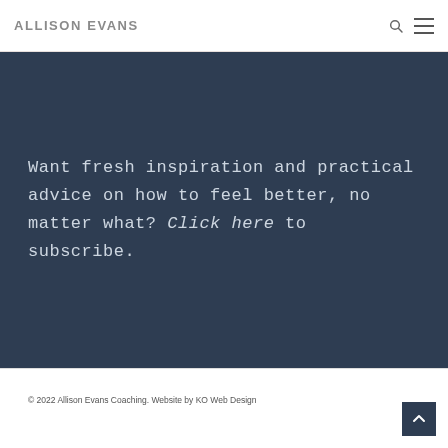Allison Evans
Want fresh inspiration and practical advice on how to feel better, no matter what? Click here to subscribe.
© 2022 Allison Evans Coaching. Website by KO Web Design